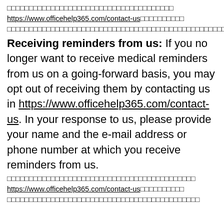□□□□□□□□□□□□□□□□□□□□□□□□□□□□□□□□□□□□□□
https://www.officehelp365.com/contact-us□□□□□□□□□□
□□□□□□□□□□□□□□□□□□□□□□□□□□□□□□□□□□□□□□□□□□□□□□□□□□□□□□□□□□□□□□□□□□□□□□□□□□□□□□□□□□□□□□□□□□□□□□□□□□□□□□□□□□□□□□□□□□□□□□□□□□□□□□□□□□□□□□□□□□□□□□□□□□□□□□□□□□□□□□□□□□□□□□□□□□□□□□□□□□□□□□□□□□□□□□□□□□□□□□□□□□□□□□□□□□□□□□□□□□□□□□□□□□□□□□□□□□□□□□□□□□□□□□□□□□□□□□□□□□□□□□□□□□□□□□□□□□□□□□□□□□□□□□□□□□□□□□□□□□□□□□□□□□□□
Receiving reminders from us: If you no longer want to receive medical reminders from us on a going-forward basis, you may opt out of receiving them by contacting us in https://www.officehelp365.com/contact-us. In your response to us, please provide your name and the e-mail address or phone number at which you receive reminders from us.
□□□□□□□□□□□□□□□□□□□□□□□□□□□□□□□□□□□□□□□□□□□
https://www.officehelp365.com/contact-us□□□□□□□□□□
□□□□□□□□□□□□□□□□□□□□□□□□□□□□□□□□□□□□□□□□□□□□